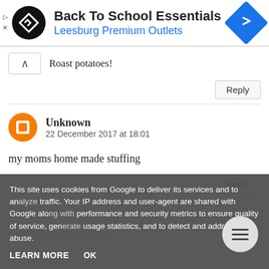[Figure (screenshot): Ad banner for Back To School Essentials at Leesburg Premium Outlets with black circular logo and blue diamond navigation icon]
Roast potatoes!
Reply
Unknown
22 December 2017 at 18:01
my moms home made stuffing
Reply
This site uses cookies from Google to deliver its services and to analyze traffic. Your IP address and user-agent are shared with Google along with performance and security metrics to ensure quality of service, generate usage statistics, and to detect and address abuse.
LEARN MORE   OK